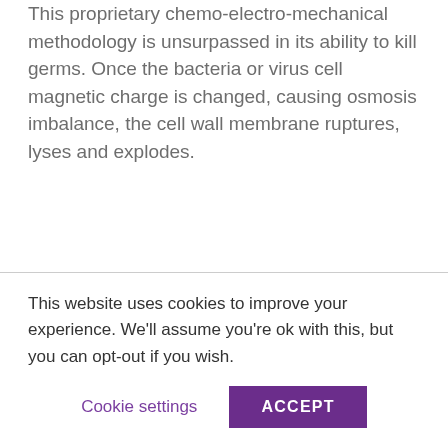This proprietary chemo-electro-mechanical methodology is unsurpassed in its ability to kill germs. Once the bacteria or virus cell magnetic charge is changed, causing osmosis imbalance, the cell wall membrane ruptures, lyses and explodes.
This website uses cookies to improve your experience. We'll assume you're ok with this, but you can opt-out if you wish.